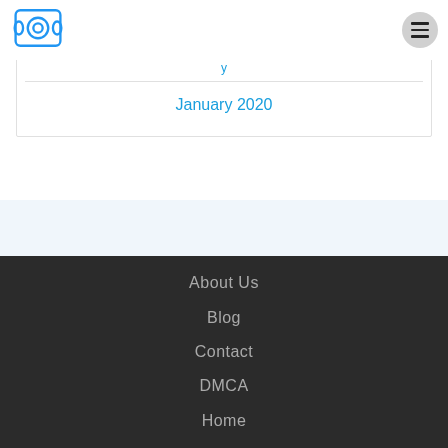[Figure (logo): Blue scroll/spool icon logo]
January 2020
About Us
Blog
Contact
DMCA
Home